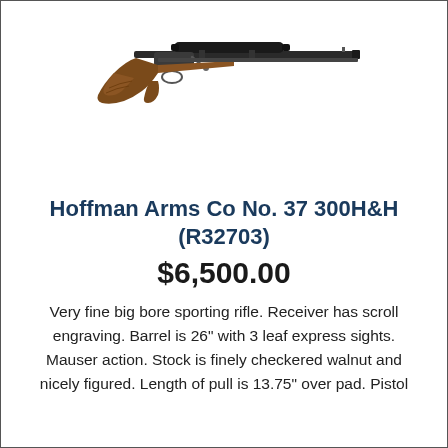[Figure (illustration): Photograph of a bolt-action sporting rifle with a wooden stock and a telescopic scope mounted on top, shown in profile facing right.]
Hoffman Arms Co No. 37 300H&H (R32703)
$6,500.00
Very fine big bore sporting rifle. Receiver has scroll engraving. Barrel is 26" with 3 leaf express sights. Mauser action. Stock is finely checkered walnut and nicely figured. Length of pull is 13.75" over pad. Pistol